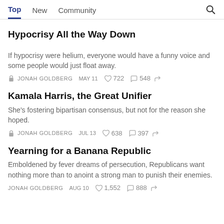Top  New  Community
Hypocrisy All the Way Down
If hypocrisy were helium, everyone would have a funny voice and some people would just float away.
JONAH GOLDBERG  MAY 11  722  548
Kamala Harris, the Great Unifier
She's fostering bipartisan consensus, but not for the reason she hoped.
JONAH GOLDBERG  JUL 13  638  397
Yearning for a Banana Republic
Emboldened by fever dreams of persecution, Republicans want nothing more than to anoint a strong man to punish their enemies.
JONAH GOLDBERG  AUG 10  1,552  888